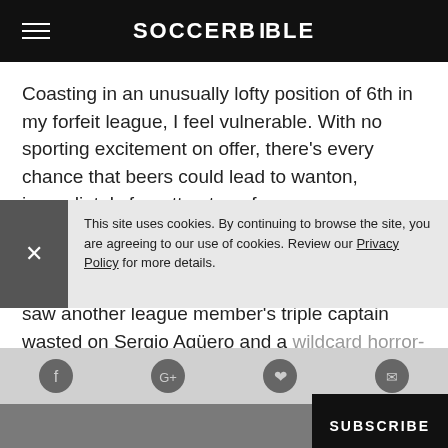SOCCERBIBLE
Coasting in an unusually lofty position of 6th in my forfeit league, I feel vulnerable. With no sporting excitement on offer, there's every chance that beers could lead to wanton, immediately forgotten transfers, an unnecessary reshuffle only to learn that four of my players have come off the flight home in plaster and it was all a mistake. Last weekend saw another league member's triple captain wasted on Sergio Agüero and a wildcard horror-show for the angry sports finalist, the most valuable chip vanishing without trace, followed by several more rage transfers. Along
This site uses cookies. By continuing to browse the site, you are agreeing to our use of cookies. Review our Privacy Policy for more details.
SUBSCRIBE